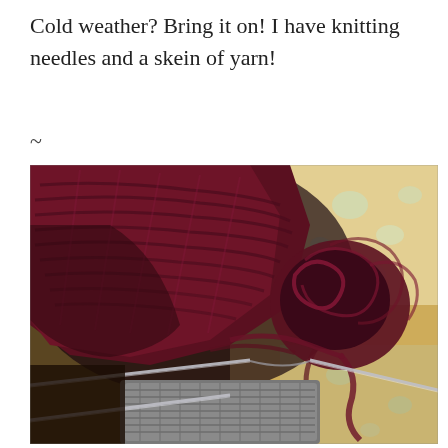Cold weather? Bring it on! I have knitting needles and a skein of yarn!
~
[Figure (photo): Close-up photo of dark burgundy/maroon knitting — a completed hat or cowl and yarn skein alongside a work-in-progress grey knitting on circular needles, all resting on a patterned floral quilt or fabric.]